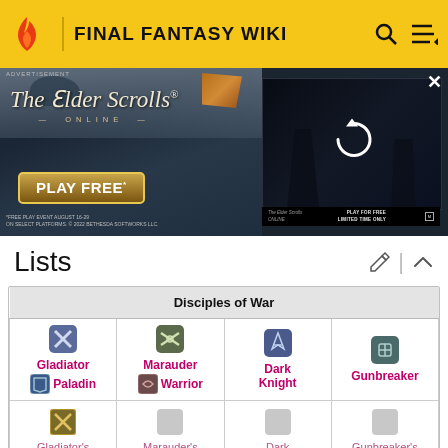FINAL FANTASY WIKI
[Figure (screenshot): Advertisement banner for The Elder Scrolls Online - Play Free event]
Lists
| Disciples of War |
| --- |
| Gladiator / Paladin | Marauder / Warrior | Dark Knight | Gunbreaker |
| Gladiator's | Marauder's | Dark Knight's | Gunbreaker's |